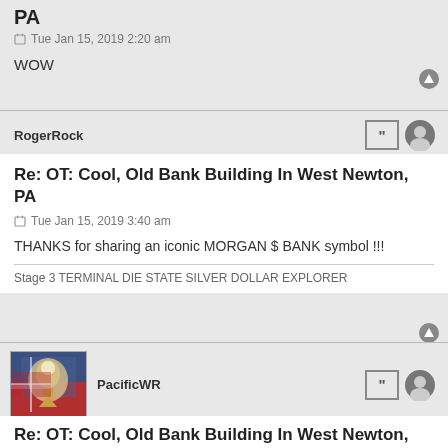PA
Tue Jan 15, 2019 2:20 am
WOW
RogerRock
Re: OT: Cool, Old Bank Building In West Newton, PA
Tue Jan 15, 2019 3:40 am
THANKS for sharing an iconic MORGAN $ BANK symbol !!!
Stage 3 TERMINAL DIE STATE SILVER DOLLAR EXPLORER
PacificWR
Re: OT: Cool, Old Bank Building In West Newton, PA